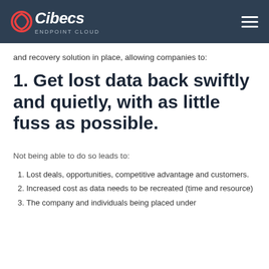Cibecs ENDPOINT CLOUD
and recovery solution in place, allowing companies to:
1. Get lost data back swiftly and quietly, with as little fuss as possible.
Not being able to do so leads to:
Lost deals, opportunities, competitive advantage and customers.
Increased cost as data needs to be recreated (time and resource)
The company and individuals being placed under